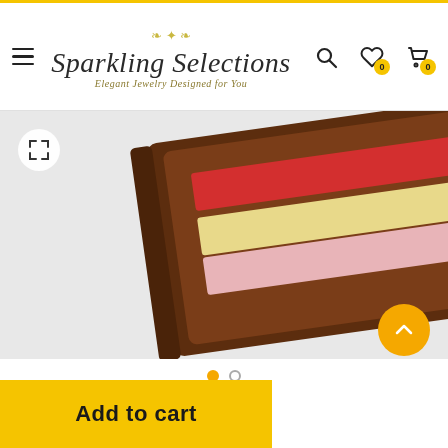[Figure (logo): Sparkling Selections logo — ornate script with 'Elegant Jewelry Designed for You' subtitle in gold/olive italic, decorative flourish above]
[Figure (photo): Close-up product photo of a dark brown leather wallet/cardholder open showing cards inside (red and cream/gold colored cards visible), photographed at an angle on a light background]
Add to cart